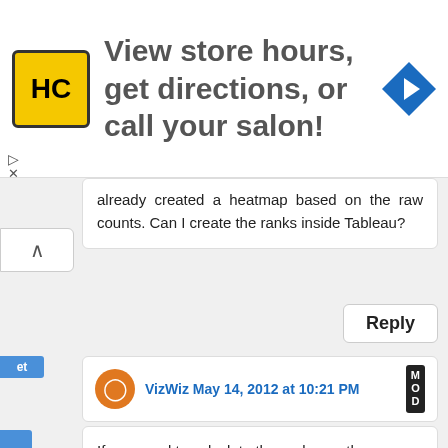[Figure (other): Advertisement banner: HC logo (yellow square with black HC lettering), text 'View store hours, get directions, or call your salon!', blue diamond arrow icon on the right]
already created a heatmap based on the raw counts. Can I create the ranks inside Tableau?
Reply
VizWiz May 14, 2012 at 10:21 PM MOD
If you need to calculate the rank, use the INDEX() function in Tableau.

Here's a link to the Tableau help for how it works.

http://onlinehelp.tableausoftware.com/v7.0/pro/online/en-us/functions_functions_tablecalculation.html